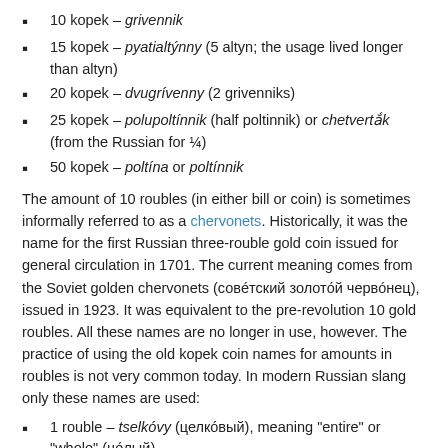10 kopek – grivennik
15 kopek – pyatialtynny (5 altyn; the usage lived longer than altyn)
20 kopek – dvugrivenny (2 grivenniks)
25 kopek – polupoltinnik (half poltinnik) or chetverták (from the Russian for ¼)
50 kopek – poltina or poltinnik
The amount of 10 roubles (in either bill or coin) is sometimes informally referred to as a chervonets. Historically, it was the name for the first Russian three-rouble gold coin issued for general circulation in 1701. The current meaning comes from the Soviet golden chervonets (совéтский золотóй червóнец), issued in 1923. It was equivalent to the pre-revolution 10 gold roubles. All these names are no longer in use, however. The practice of using the old kopek coin names for amounts in roubles is not very common today. In modern Russian slang only these names are used:
1 rouble – tselkóvy (целкóвый), meaning "entire" or "whole" (цéлый)
5 roubles – pyatyórka (пятёрка), pyaták (пятáк), pyatachyók (пятачóк)
10 roubles – chirik (чи́рик), "chervónets" (червóнец) or desyátka